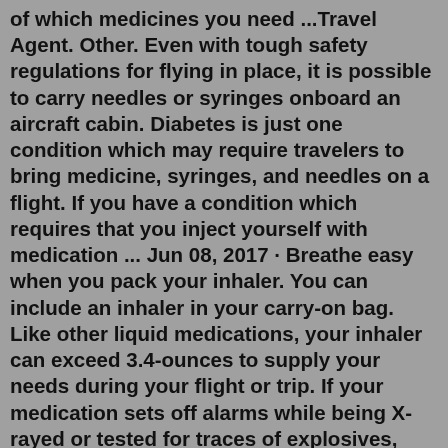of which medicines you need ...Travel Agent. Other. Even with tough safety regulations for flying in place, it is possible to carry needles or syringes onboard an aircraft cabin. Diabetes is just one condition which may require travelers to bring medicine, syringes, and needles on a flight. If you have a condition which requires that you inject yourself with medication ... Jun 08, 2017 · Breathe easy when you pack your inhaler. You can include an inhaler in your carry-on bag. Like other liquid medications, your inhaler can exceed 3.4-ounces to supply your needs during your flight or trip. If your medication sets off alarms while being X-rayed or tested for traces of explosives, expect additional screening. The 3-1-1 Rule. According to the 3-1-1 guidelines, travelers, in general, are allowed to bring on most liquids, from shampoo to hand sanitizer gels, as long as they meet the requirements of the 3-1-1 rule. Typically this means you can carry up to six 3.4-ounce bottles of shampoos, contact solution, and other liquid necessities as long as they... Step 1 Assess all of the